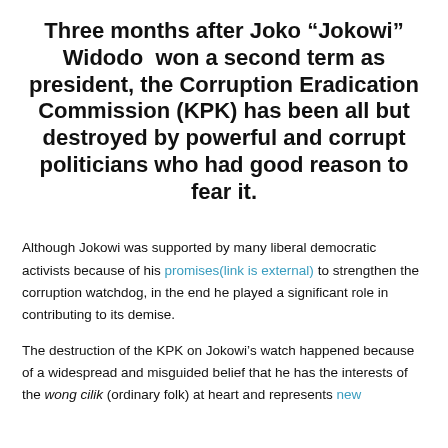Three months after Joko “Jokowi” Widodo won a second term as president, the Corruption Eradication Commission (KPK) has been all but destroyed by powerful and corrupt politicians who had good reason to fear it.
Although Jokowi was supported by many liberal democratic activists because of his promises(link is external) to strengthen the corruption watchdog, in the end he played a significant role in contributing to its demise.
The destruction of the KPK on Jokowi's watch happened because of a widespread and misguided belief that he has the interests of the wong cilik (ordinary folk) at heart and represents new